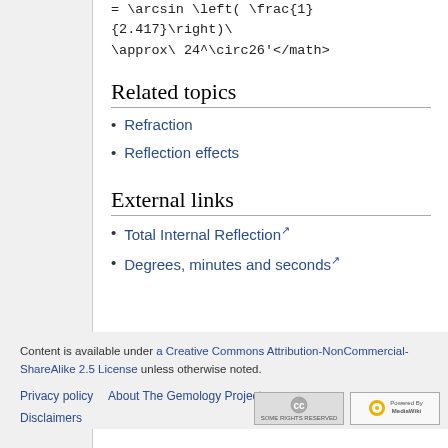Related topics
Refraction
Reflection effects
External links
Total Internal Reflection
Degrees, minutes and seconds
Content is available under a Creative Commons Attribution-NonCommercial-ShareAlike 2.5 License unless otherwise noted.
Privacy policy   About The Gemology Project
Disclaimers